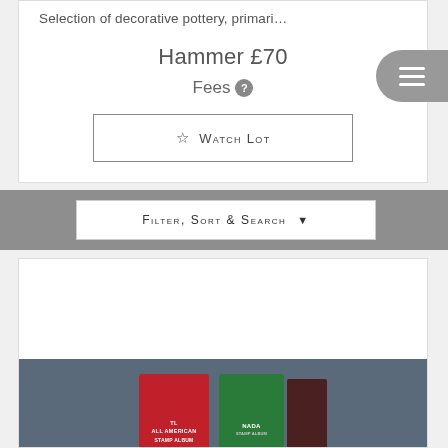Selection of decorative pottery, primari…
Hammer £70
Fees
☆ Watch Lot
[Figure (photo): Stamp albums — red All American Stamp Album, green Canada Stamp Album, and a dark maroon album — standing on a grey textured surface]
Filter, Sort & Search